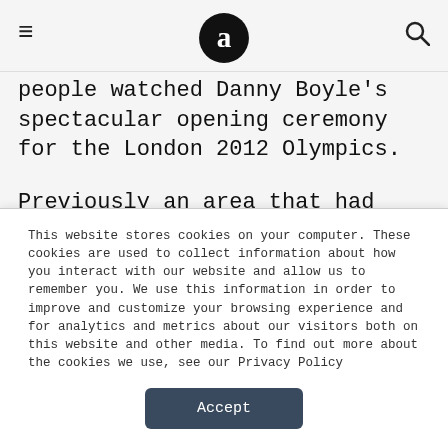≡ [logo: a] 🔍
people watched Danny Boyle's spectacular opening ceremony for the London 2012 Olympics.
Previously an area that had experienced sharp economic decline following the closure of the London Docks in the 1960s, Stratford was not synonymous with spectacular international events, but in the decade since Queen Elizabeth Olympic Park (QEOP)
This website stores cookies on your computer. These cookies are used to collect information about how you interact with our website and allow us to remember you. We use this information in order to improve and customize your browsing experience and for analytics and metrics about our visitors both on this website and other media. To find out more about the cookies we use, see our Privacy Policy
Accept